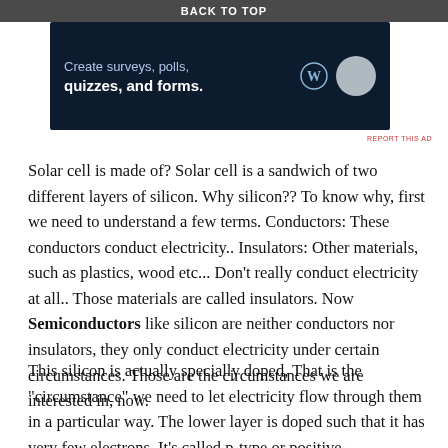BACK TO TOP
[Figure (screenshot): Advertisement banner with dark navy background. Text reads 'Create surveys, polls, quizzes, and forms.' with WordPress logo and circular icon on right side.]
Solar cell is made of? Solar cell is a sandwich of two different layers of silicon. Why silicon?? To know why, first we need to understand a few terms. Conductors: These conductors conduct electricity.. Insulators: Other materials, such as plastics, wood etc... Don't really conduct electricity at all.. Those materials are called insulators. Now Semiconductors like silicon are neither conductors nor insulators, they only conduct electricity under certain circumstances. Those are the circumstances we are interested in, now.
This silicon is actually specially doped, That is the "circumstance" we need to let electricity flow through them in a particular way. The lower layer is doped such that it has very few electrons. It's called p-type or positive-